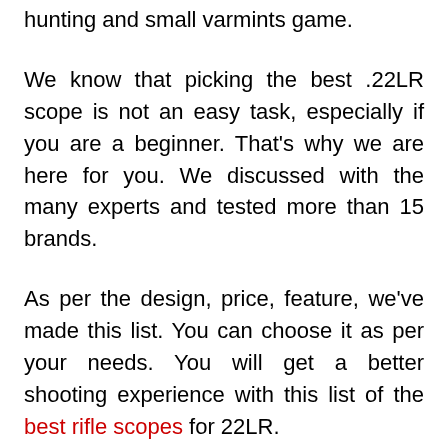hunting and small varmints game.
We know that picking the best .22LR scope is not an easy task, especially if you are a beginner. That's why we are here for you. We discussed with the many experts and tested more than 15 brands.
As per the design, price, feature, we've made this list. You can choose it as per your needs. You will get a better shooting experience with this list of the best rifle scopes for 22LR.
Let's get started.